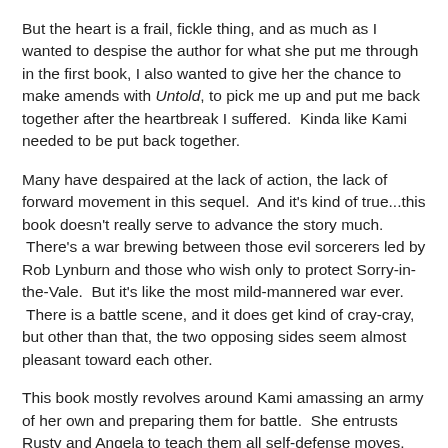But the heart is a frail, fickle thing, and as much as I wanted to despise the author for what she put me through in the first book, I also wanted to give her the chance to make amends with Untold, to pick me up and put me back together after the heartbreak I suffered.  Kinda like Kami needed to be put back together.
Many have despaired at the lack of action, the lack of forward movement in this sequel.  And it's kind of true...this book doesn't really serve to advance the story much.  There's a war brewing between those evil sorcerers led by Rob Lynburn and those who wish only to protect Sorry-in-the-Vale.  But it's like the most mild-mannered war ever.  There is a battle scene, and it does get kind of cray-cray, but other than that, the two opposing sides seem almost pleasant toward each other.
This book mostly revolves around Kami amassing an army of her own and preparing them for battle.  She entrusts Rusty and Angela to teach them all self-defense moves.  Rusty.  *sigh*  Kami helps mastermind a plan to aide the magical